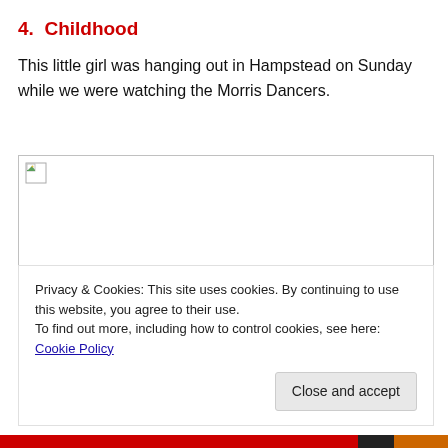4.  Childhood
This little girl was hanging out in Hampstead on Sunday while we were watching the Morris Dancers.
[Figure (photo): Broken image placeholder — image failed to load, showing broken image icon in top-left corner of a bordered box]
Privacy & Cookies: This site uses cookies. By continuing to use this website, you agree to their use.
To find out more, including how to control cookies, see here: Cookie Policy
Close and accept